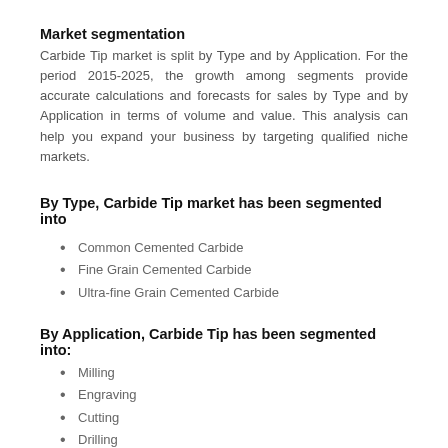Market segmentation
Carbide Tip market is split by Type and by Application. For the period 2015-2025, the growth among segments provide accurate calculations and forecasts for sales by Type and by Application in terms of volume and value. This analysis can help you expand your business by targeting qualified niche markets.
By Type, Carbide Tip market has been segmented into
Common Cemented Carbide
Fine Grain Cemented Carbide
Ultra-fine Grain Cemented Carbide
By Application, Carbide Tip has been segmented into:
Milling
Engraving
Cutting
Drilling
Grooving
Others
Regions and Countries Level Analysis
Regional analysis is another highly comprehensive part of the